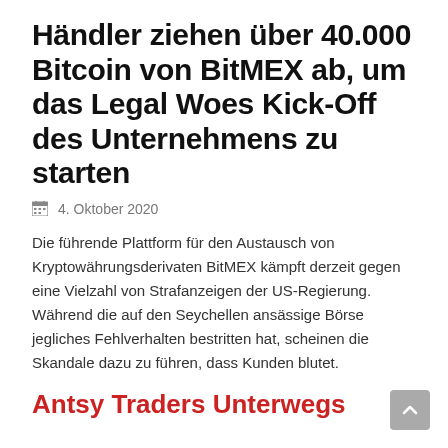Händler ziehen über 40.000 Bitcoin von BitMEX ab, um das Legal Woes Kick-Off des Unternehmens zu starten
4. Oktober 2020
Die führende Plattform für den Austausch von Kryptowährungsderivaten BitMEX kämpft derzeit gegen eine Vielzahl von Strafanzeigen der US-Regierung. Während die auf den Seychellen ansässige Börse jegliches Fehlverhalten bestritten hat, scheinen die Skandale dazu zu führen, dass Kunden blutet.
Antsy Traders Unterwegs